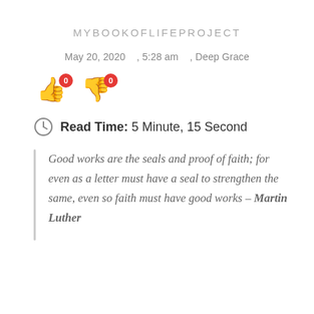MYBOOKOFLIFEPROJECT
May 20, 2020 , 5:28 am , Deep Grace
[Figure (infographic): Thumbs up emoji with red badge showing 0 and thumbs down emoji with red badge showing 0]
Read Time: 5 Minute, 15 Second
Good works are the seals and proof of faith; for even as a letter must have a seal to strengthen the same, even so faith must have good works – Martin Luther